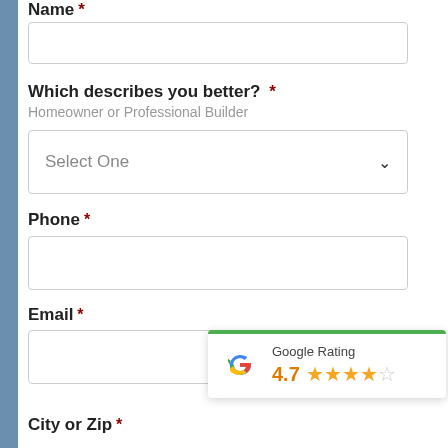Name *
Which describes you better? * Homeowner or Professional Builder
Select One
Phone *
Email *
[Figure (infographic): Google Rating badge showing 4.7 stars with Google G logo]
City or Zip *